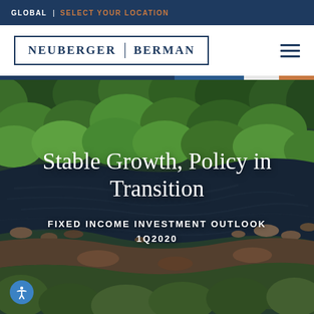GLOBAL  |  SELECT YOUR LOCATION
[Figure (logo): Neuberger Berman logo in bordered box]
[Figure (photo): Aerial view of a river winding through dense green forest with rocks and earth tones]
Stable Growth, Policy in Transition
FIXED INCOME INVESTMENT OUTLOOK 1Q2020